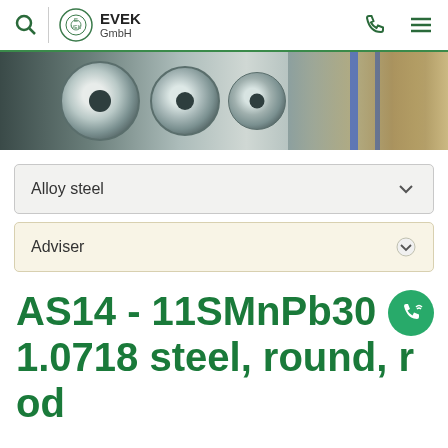EVEK GmbH – navigation bar with search, logo, phone, menu icons
[Figure (photo): Hero banner showing large steel coils/rolls in a warehouse, metallic silver and grey tones with warehouse shelving visible on the right side.]
Alloy steel
Adviser
AS14 - 11SMnPb30 1.0718 steel, round, rod